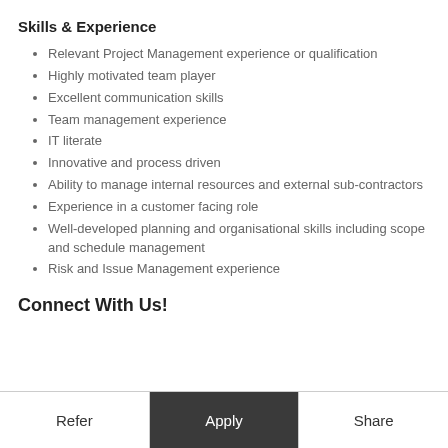Skills & Experience
Relevant Project Management experience or qualification
Highly motivated team player
Excellent communication skills
Team management experience
IT literate
Innovative and process driven
Ability to manage internal resources and external sub-contractors
Experience in a customer facing role
Well-developed planning and organisational skills including scope and schedule management
Risk and Issue Management experience
Connect With Us!
Refer | Apply | Share